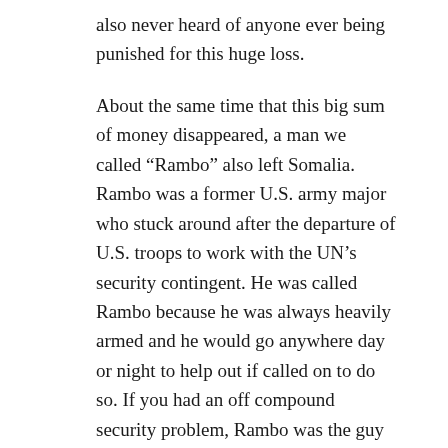also never heard of anyone ever being punished for this huge loss.
About the same time that this big sum of money disappeared, a man we called “Rambo” also left Somalia. Rambo was a former U.S. army major who stuck around after the departure of U.S. troops to work with the UN’s security contingent. He was called Rambo because he was always heavily armed and he would go anywhere day or night to help out if called on to do so. If you had an off compound security problem, Rambo was the guy you would call. I always found it uncanny how Rambo left at the same time the money disappeared. I have always wondered whatever happened to Rambo and where he is today.